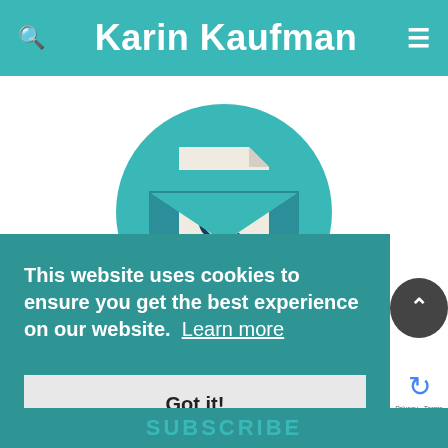Karin Kaufman
[Figure (illustration): Email icon: open envelope with a letter showing an @ symbol, on a teal circular background]
This website uses cookies to ensure you get the best experience on our website. Learn more
Got it!